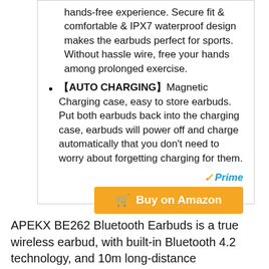hands-free experience. Secure fit & comfortable & IPX7 waterproof design makes the earbuds perfect for sports. Without hassle wire, free your hands among prolonged exercise.
【AUTO CHARGING】Magnetic Charging case, easy to store earbuds. Put both earbuds back into the charging case, earbuds will power off and charge automatically that you don't need to worry about forgetting charging for them.
✓Prime
🛒 Buy on Amazon
APEKX BE262 Bluetooth Earbuds is a true wireless earbud, with built-in Bluetooth 4.2 technology, and 10m long-distance